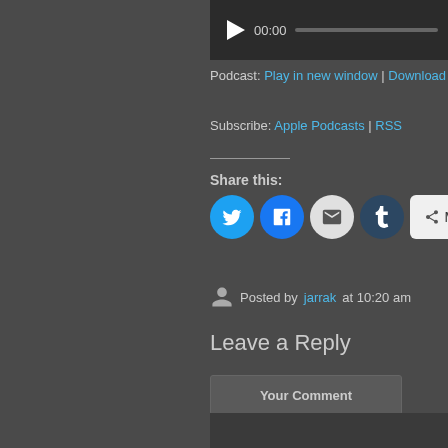[Figure (screenshot): Audio player bar with play button, 00:00 timestamp, and progress bar on dark background]
Podcast: Play in new window | Download
Subscribe: Apple Podcasts | RSS
Share this:
[Figure (screenshot): Social share buttons: Twitter, Facebook, Email, Tumblr, and More]
Posted by jarrak at 10:20 am
Leave a Reply
Your Comment